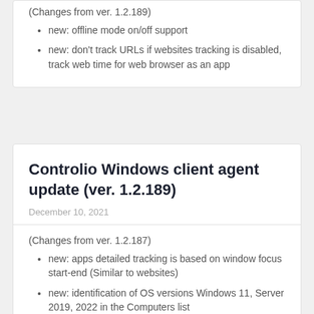(Changes from ver. 1.2.189)
new: offline mode on/off support
new: don't track URLs if websites tracking is disabled, track web time for web browser as an app
Controlio Windows client agent update (ver. 1.2.189)
December 10, 2021
(Changes from ver. 1.2.187)
new: apps detailed tracking is based on window focus start-end (Similar to websites)
new: identification of OS versions Windows 11, Server 2019, 2022 in the Computers list